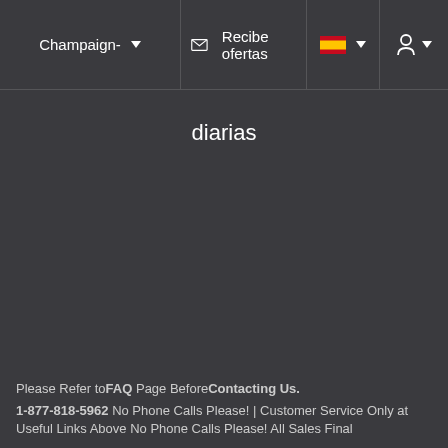Champaign- ▼  ✉ Recibe ofertas  🇪🇸▼  👤▼
diarias
Please Refer toFAQ Page BeforeContacting Us.
1-877-818-5962 No Phone Calls Please! | Customer Service Only at Useful Links Above No Phone Calls Please! All Sales Final